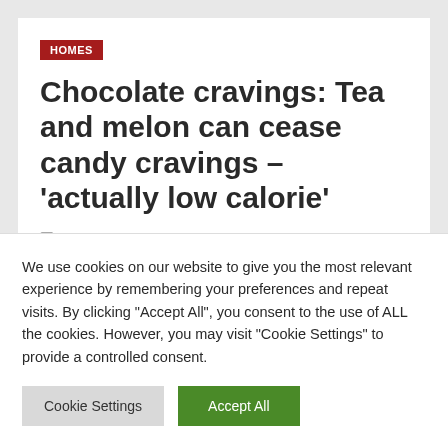HOMES
Chocolate cravings: Tea and melon can cease candy cravings – 'actually low calorie'
jasabacklink · April 11, 2022 · 4 min read
We use cookies on our website to give you the most relevant experience by remembering your preferences and repeat visits. By clicking "Accept All", you consent to the use of ALL the cookies. However, you may visit "Cookie Settings" to provide a controlled consent.